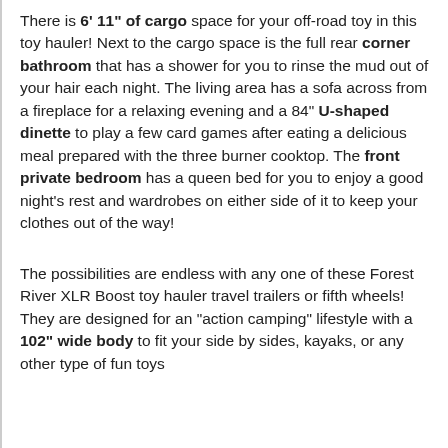There is 6' 11" of cargo space for your off-road toy in this toy hauler! Next to the cargo space is the full rear corner bathroom that has a shower for you to rinse the mud out of your hair each night. The living area has a sofa across from a fireplace for a relaxing evening and a 84" U-shaped dinette to play a few card games after eating a delicious meal prepared with the three burner cooktop. The front private bedroom has a queen bed for you to enjoy a good night's rest and wardrobes on either side of it to keep your clothes out of the way!
The possibilities are endless with any one of these Forest River XLR Boost toy hauler travel trailers or fifth wheels! They are designed for an "action camping" lifestyle with a 102" wide body to fit your side by sides, kayaks, or any other type of fun toys